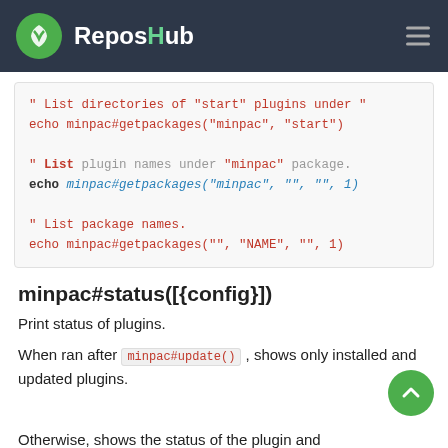ReposHub
[Figure (other): Code block showing VimScript echo commands for listing plugin directories and names using minpac#getpackages()]
minpac#status([{config}])
Print status of plugins.
When ran after minpac#update() , shows only installed and updated plugins.
Otherwise, shows the status of the plugin and